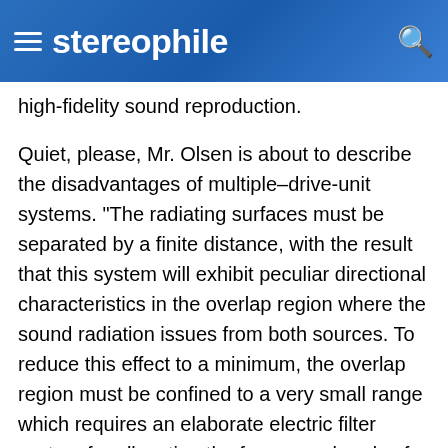stereophile
high-fidelity sound reproduction.
Quiet, please, Mr. Olsen is about to describe the disadvantages of multiple–drive-unit systems. "The radiating surfaces must be separated by a finite distance, with the result that this system will exhibit peculiar directional characteristics in the overlap region where the sound radiation issues from both sources. To reduce this effect to a minimum, the overlap region must be confined to a very small range which requires an elaborate electric filter system for allocating the frequency bands of the units. The greater space required for the two loudspeakers is another important factor. The cost of two separate field structures and vibrating